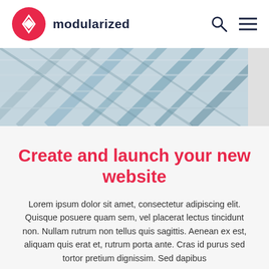modularized
[Figure (photo): Glass roof/ceiling structure photographed from below showing geometric patterns of metal frames and glass panels]
Create and launch your new website
Lorem ipsum dolor sit amet, consectetur adipiscing elit. Quisque posuere quam sem, vel placerat lectus tincidunt non. Nullam rutrum non tellus quis sagittis. Aenean ex est, aliquam quis erat et, rutrum porta ante. Cras id purus sed tortor pretium dignissim. Sed dapibus